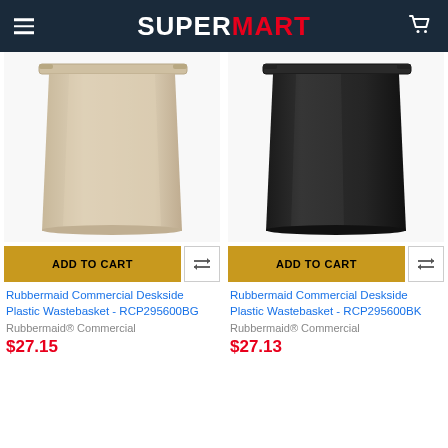SUPERMART
[Figure (photo): Beige/tan Rubbermaid deskside plastic wastebasket on white background]
[Figure (photo): Black Rubbermaid deskside plastic wastebasket on white background]
ADD TO CART
ADD TO CART
Rubbermaid Commercial Deskside Plastic Wastebasket - RCP295600BG
Rubbermaid Commercial Deskside Plastic Wastebasket - RCP295600BK
Rubbermaid® Commercial
Rubbermaid® Commercial
$27.15
$27.13